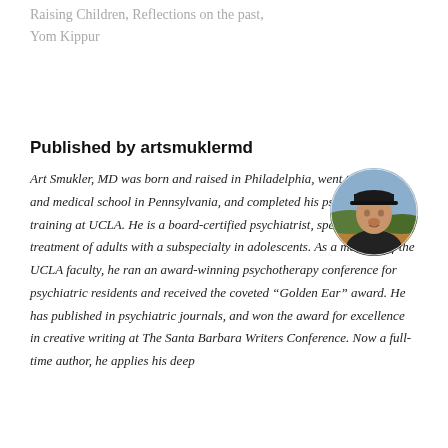Raising Children, Reflections on the past, Yom Kippur
Published by artsmuklermd
[Figure (photo): Circular profile photo of Art Smukler, MD — a man wearing a dark cap and dark shirt, outdoors with a landscape background]
Art Smukler, MD was born and raised in Philadelphia, went to college and medical school in Pennsylvania, and completed his psychiatric training at UCLA. He is a board-certified psychiatrist, specializing in the treatment of adults with a subspecialty in adolescents. As a member of the UCLA faculty, he ran an award-winning psychotherapy conference for psychiatric residents and received the coveted “Golden Ear” award. He has published in psychiatric journals, and won the award for excellence in creative writing at The Santa Barbara Writers Conference. Now a full-time author, he applies his deep